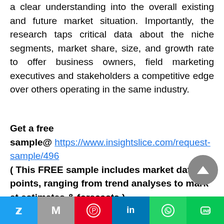a clear understanding into the overall existing and future market situation. Importantly, the research taps critical data about the niche segments, market share, size, and growth rate to offer business owners, field marketing executives and stakeholders a competitive edge over others operating in the same industry.
Get a free sample@ https://www.insightslice.com/request-sample/496 ( This FREE sample includes market data points, ranging from trend analyses to market estimates & forecasts.)
[Figure (other): Social share bar with icons for Twitter, Email (M), Pinterest, LinkedIn, WhatsApp, and LINE]